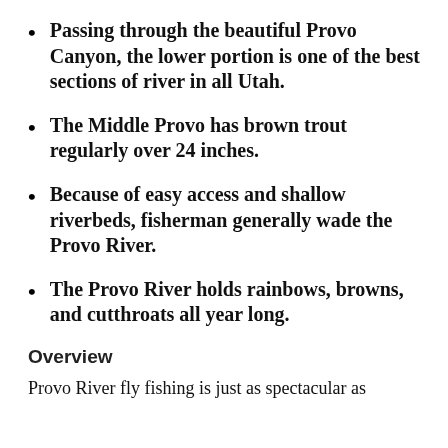Passing through the beautiful Provo Canyon, the lower portion is one of the best sections of river in all Utah.
The Middle Provo has brown trout regularly over 24 inches.
Because of easy access and shallow riverbeds, fisherman generally wade the Provo River.
The Provo River holds rainbows, browns, and cutthroats all year long.
Overview
Provo River fly fishing is just as spectacular as